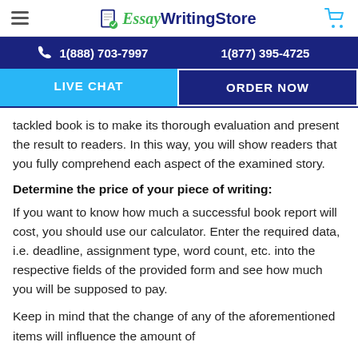EssayWritingStore
1(888) 703-7997   1(877) 395-4725
LIVE CHAT   ORDER NOW
tackled book is to make its thorough evaluation and present the result to readers. In this way, you will show readers that you fully comprehend each aspect of the examined story.
Determine the price of your piece of writing:
If you want to know how much a successful book report will cost, you should use our calculator. Enter the required data, i.e. deadline, assignment type, word count, etc. into the respective fields of the provided form and see how much you will be supposed to pay.
Keep in mind that the change of any of the aforementioned items will influence the amount of